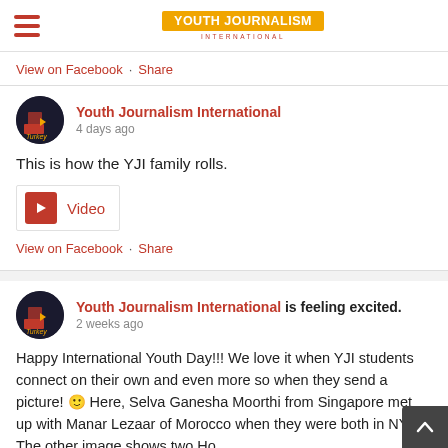Youth Journalism International
View on Facebook · Share
Youth Journalism International
4 days ago
This is how the YJI family rolls.
Video
View on Facebook · Share
Youth Journalism International is feeling excited.
2 weeks ago
Happy International Youth Day!!! We love it when YJI students connect on their own and even more so when they send a picture! 🙂 Here, Selva Ganesha Moorthi from Singapore met up with Manar Lezaar of Morocco when they were both in NYC. The other image shows two Ho